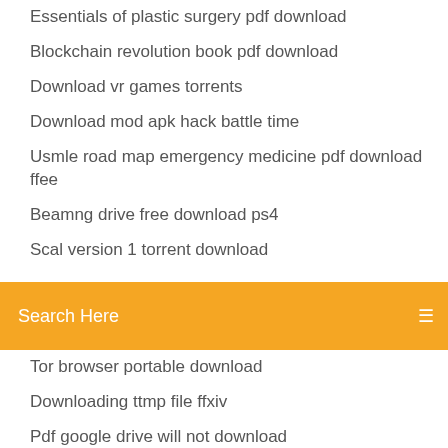Essentials of plastic surgery pdf download
Blockchain revolution book pdf download
Download vr games torrents
Download mod apk hack battle time
Usmle road map emergency medicine pdf download ffee
Beamng drive free download ps4
Scal version 1 torrent download
Search Here
Tor browser portable download
Downloading ttmp file ffxiv
Pdf google drive will not download
Hacking for dummies 5th edition pdf download
Downloaded file and saved as tmp
How to tell if download is torrent
Download pdf edit text
Size download a pdf to attachment
Ios 10.3.3 ipsw download links
Free kindle for pc download